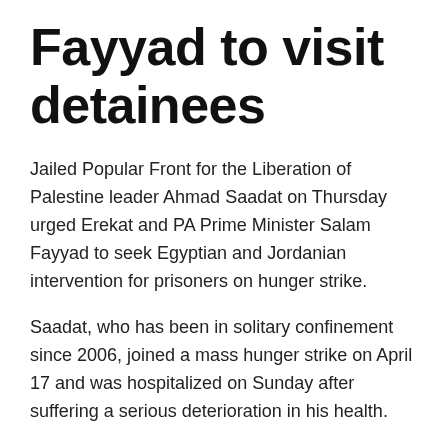Fayyad to visit detainees
Jailed Popular Front for the Liberation of Palestine leader Ahmad Saadat on Thursday urged Erekat and PA Prime Minister Salam Fayyad to seek Egyptian and Jordanian intervention for prisoners on hunger strike.
Saadat, who has been in solitary confinement since 2006, joined a mass hunger strike on April 17 and was hospitalized on Sunday after suffering a serious deterioration in his health.
In a message delivered by lawyer Fadi Obidat, who visited Saadat in al-Ramla prison hospital, the PFLP secretary-general urged Erekat and Fayyad to visit